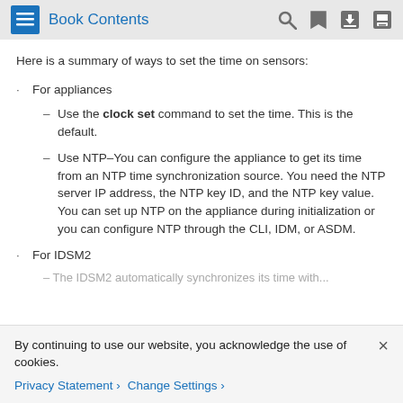Book Contents
Here is a summary of ways to set the time on sensors:
For appliances
Use the clock set command to set the time. This is the default.
Use NTP–You can configure the appliance to get its time from an NTP time synchronization source. You need the NTP server IP address, the NTP key ID, and the NTP key value. You can set up NTP on the appliance during initialization or you can configure NTP through the CLI, IDM, or ASDM.
For IDSM2
By continuing to use our website, you acknowledge the use of cookies.
Privacy Statement > Change Settings >